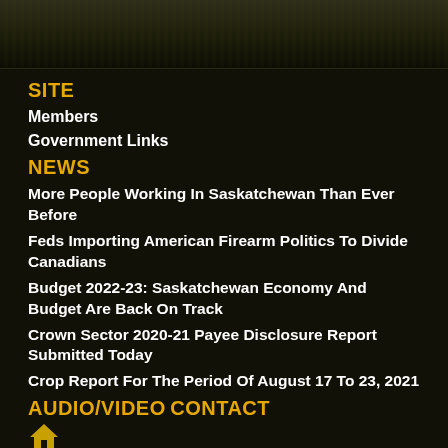SITE
Members
Government Links
NEWS
More People Working In Saskatchewan Than Ever Before
Feds Importing American Firearm Politics To Divide Canadians
Budget 2022-23: Saskatchewan Economy And Budget Are Back On Track
Crown Sector 2020-21 Payee Disclosure Report Submitted Today
Crop Report For The Period Of August 17 To 23, 2021
AUDIO/VIDEO
CONTACT
[Figure (illustration): Home icon symbol]